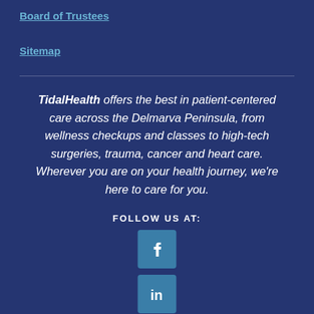Board of Trustees
Sitemap
TidalHealth offers the best in patient-centered care across the Delmarva Peninsula, from wellness checkups and classes to high-tech surgeries, trauma, cancer and heart care. Wherever you are on your health journey, we're here to care for you.
FOLLOW US AT:
[Figure (infographic): Facebook social media icon button (teal square with white 'f' logo)]
[Figure (infographic): LinkedIn social media icon button (teal square with white 'in' logo)]
[Figure (infographic): Instagram social media icon button partially visible (teal square with white camera icon, cropped at bottom of page)]